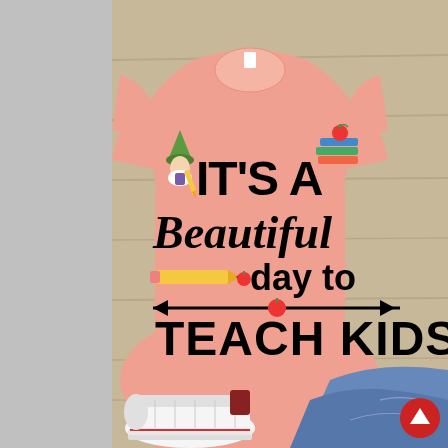[Figure (photo): Product photo of a peach/salmon colored t-shirt laid flat on a wooden surface with jeans and white Converse sneakers. The shirt reads 'IT'S A Beautiful day to TEACH KIDS' with decorative graphics including a gnome with pencil, stacked books with apple, a pencil, a small apple, and arrow decorations. A smaller inset photo in the top right shows the same shirt in green/teal color displayed with jeans and white sneakers. A red circular scroll-up button is visible in the bottom right corner.]